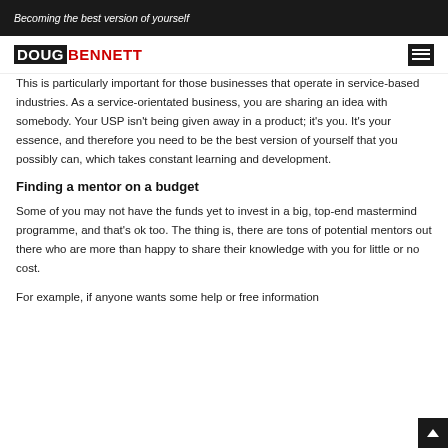Becoming the best version of yourself
[Figure (logo): DOUGBENNETT logo with DOUG in white on dark background and BENNETT in red]
This is particularly important for those businesses that operate in service-based industries. As a service-orientated business, you are sharing an idea with somebody. Your USP isn't being given away in a product; it's you. It's your essence, and therefore you need to be the best version of yourself that you possibly can, which takes constant learning and development.
Finding a mentor on a budget
Some of you may not have the funds yet to invest in a big, top-end mastermind programme, and that's ok too. The thing is, there are tons of potential mentors out there who are more than happy to share their knowledge with you for little or no cost.
For example, if anyone wants some help or free information